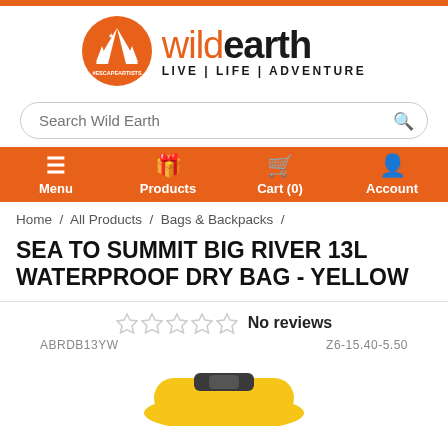[Figure (logo): Wild Earth logo - orange circle with tent/trees and text 'wildearth LIVE | LIFE | ADVENTURE']
Search Wild Earth
Menu | Products | Cart (0) | Account
Home / All Products / Bags & Backpacks /
SEA TO SUMMIT BIG RIVER 13L WATERPROOF DRY BAG - YELLOW
No reviews
ABRDB13YW    Z6-15.40-5.50
[Figure (photo): Yellow waterproof dry bag product image]